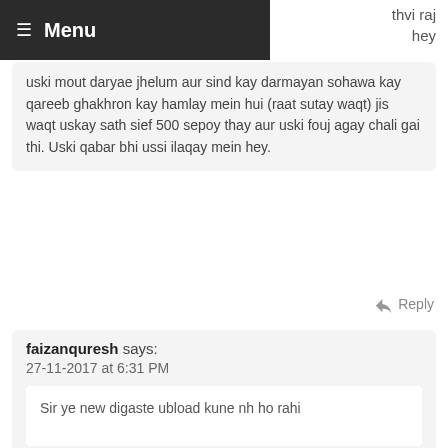Menu
thvi raj
hey
uski mout daryae jhelum aur sind kay darmayan sohawa kay qareeb ghakhron kay hamlay mein hui (raat sutay waqt) jis waqt uskay sath sief 500 sepoy thay aur uski fouj agay chali gai thi. Uski qabar bhi ussi ilaqay mein hey.
Reply
faizanquresh says:
27-11-2017 at 6:31 PM
Sir ye new digaste ubload kune nh ho rahi
Reply
Leave a Reply
Your email address will not be published. Required fields are marked *